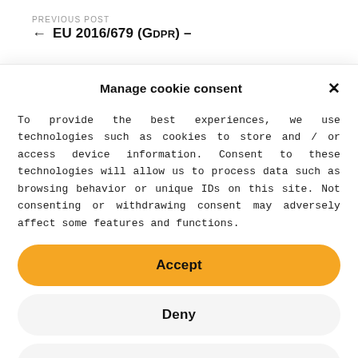PREVIOUS POST
EU 2016/679 (GDPR) –
Manage cookie consent
To provide the best experiences, we use technologies such as cookies to store and / or access device information. Consent to these technologies will allow us to process data such as browsing behavior or unique IDs on this site. Not consenting or withdrawing consent may adversely affect some features and functions.
Accept
Deny
View preferences
Cookie Policy   Privacy Policy